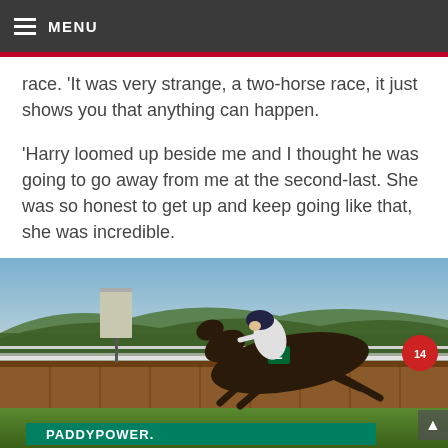MENU
race. ‘It was very strange, a two-horse race, it just shows you that anything can happen.
‘Harry loomed up beside me and I thought he was going to go away from me at the second-last. She was so honest to get up and keep going like that, she was incredible.
[Figure (photo): A jockey on a dark horse numbered 2 jumping over a hurdle fence at a racecourse, with Paddy Power advertising banners visible along the rail and green hills in the background.]